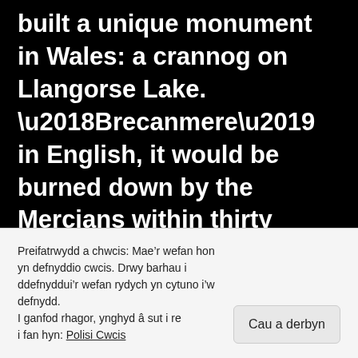built a unique monument in Wales: a crannog on Llangorse Lake. ‘Brecanmere’ in English, it would be burned down by the Mercians within thirty years. In 893 Cadell ap Rhodri replaced the sons of Hyfaidd as ruler of Dyfed. Southeast Wales
Preifatrwydd a chwcis: Mae’r wefan hon yn defnyddio cwcis. Drwy barhau i ddefnyddui’r wefan rydych yn cytuno i’w defnydd. I ganfod rhagor, ynghyd â sut i re i fan hyn: Polisi Cwcis
Cau a derbyn